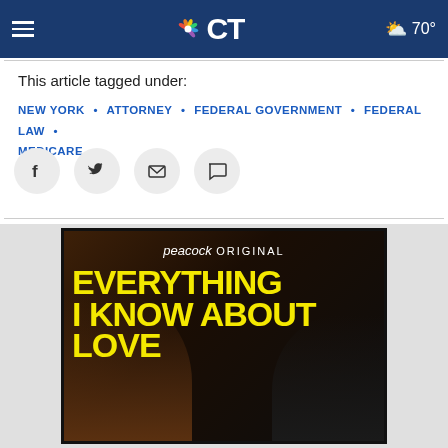NBC CT — hamburger menu, NBC CT logo, weather 70°
This article tagged under:
NEW YORK • ATTORNEY • FEDERAL GOVERNMENT • FEDERAL LAW • MEDICARE
[Figure (screenshot): Social share buttons: Facebook, Twitter, Email, Comment]
[Figure (photo): Peacock ORIGINAL promotional image for 'Everything I Know About Love' showing two women posing, with large yellow hand-lettered text on dark background]